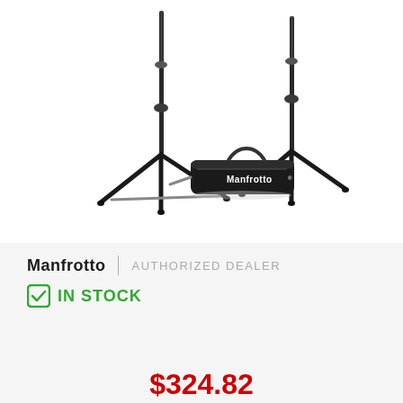[Figure (photo): Two Manfrotto light/background stands (black tripod-style) with a black Manfrotto carrying bag between them, shown on white background.]
Manfrotto | AUTHORIZED DEALER
IN STOCK
$324.82